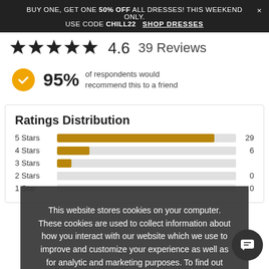BUY ONE, GET ONE 50% OFF ALL DRESSES! THIS WEEKEND ONLY. × USE CODE CHILL22   SHOP DRESSES
4.6   39 Reviews
95% of respondents would recommend this to a friend
Ratings Distribution
| Stars | Bar | Count |
| --- | --- | --- |
| 5 Stars |  | 29 |
| 4 Stars |  | 6 |
| 3 Stars |  |  |
| 2 Stars |  | 0 |
| 1 Star |  | 0 |
This website stores cookies on your computer. These cookies are used to collect information about how you interact with our website which we use to improve and customize your experience as well as for analytic and marketing purposes. To find out more about the cookies we use and how to change your cookie settings, see our Privacy Policy. By continuing to use this site without changing your settings, you consent to our use of cookies.
I AGREE